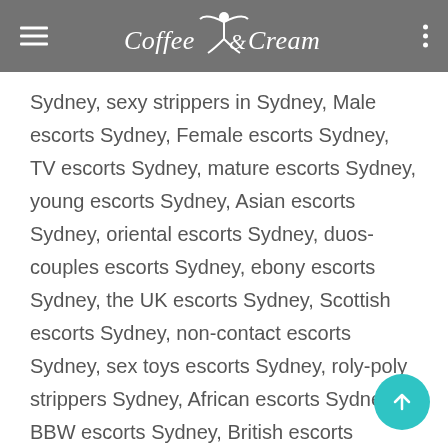Coffee & Cream
Sydney, sexy strippers in Sydney, Male escorts Sydney, Female escorts Sydney, TV escorts Sydney, mature escorts Sydney, young escorts Sydney, Asian escorts Sydney, oriental escorts Sydney, duos-couples escorts Sydney, ebony escorts Sydney, the UK escorts Sydney, Scottish escorts Sydney, non-contact escorts Sydney, sex toys escorts Sydney, roly-poly strippers Sydney, African escorts Sydney, BBW escorts Sydney, British escorts Sydney, horny escorts Sydney, mistress escorts Sydney, bisexual escorts Sydney, brunette escorts Sydney, erotic escorts Sydney, Nuru massage escorts Sydney, Arab escorts Sydney, cheap escorts Sydney, Indian escorts Sydney, Caucasian escorts Sydney, mixed escorts Sydney, Scandinavian escorts Sydney, Russian escorts Sydney, Chinese escorts Sydney, Japanese escorts, ...